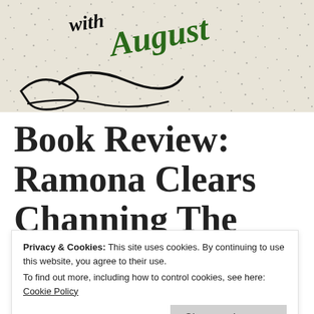[Figure (illustration): Handwritten-style artwork with the text 'with August' written in black brush script over a dotted/stippled background. 'August' is written in green handwriting style. The image appears to be a book cover or decorative header image.]
Book Review: Ramona Cleara Channing The
Privacy & Cookies: This site uses cookies. By continuing to use this website, you agree to their use.
To find out more, including how to control cookies, see here: Cookie Policy
Close and accept